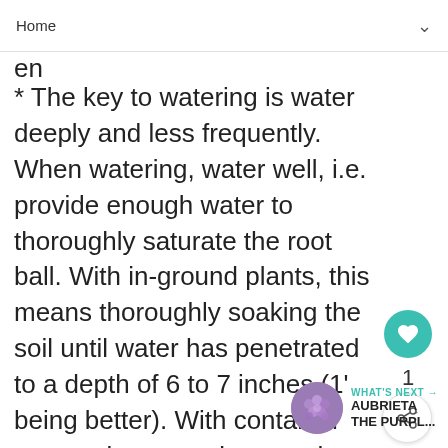Home
en...
* The key to watering is water deeply and less frequently. When watering, water well, i.e. provide enough water to thoroughly saturate the root ball. With in-ground plants, this means thoroughly soaking the soil until water has penetrated to a depth of 6 to 7 inches (1' being better). With container grown plants, apply enough water to allow water to flow through the drainage holes.
[Figure (other): Heart (favorite) button with teal background]
1
[Figure (other): Share button]
[Figure (other): What's Next thumbnail showing purple aubrieta flowers]
WHAT'S NEXT → AUBRIETA THE PURPL...